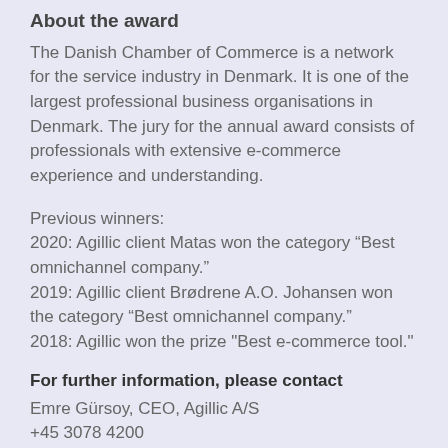About the award
The Danish Chamber of Commerce is a network for the service industry in Denmark. It is one of the largest professional business organisations in Denmark. The jury for the annual award consists of professionals with extensive e-commerce experience and understanding.
Previous winners:
2020: Agillic client Matas won the category “Best omnichannel company.”
2019: Agillic client Brødrene A.O. Johansen won the category “Best omnichannel company.”
2018: Agillic won the prize "Best e-commerce tool."
For further information, please contact
Emre Gürsoy, CEO, Agillic A/S
+45 3078 4200